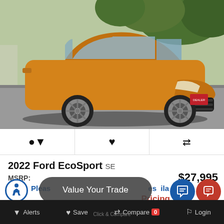[Figure (photo): Orange/gold 2022 Ford EcoSport SE SUV photographed in a parking lot from a front-three-quarter angle. Background shows trees and concrete.]
🔔  ♥  ⇄
2022 Ford EcoSport SE
MSRP: $27,995
Please ... es ... ila... Pricing
Value Your Trade
Alerts  Save  Compare 0  Login